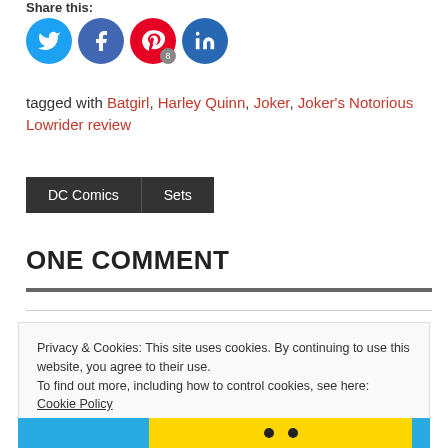Share this:
[Figure (other): Social sharing icons: Twitter (blue circle), Facebook (blue circle), Pinterest (red circle with badge 8), LinkedIn (blue circle)]
tagged with Batgirl, Harley Quinn, Joker, Joker's Notorious Lowrider review
DC Comics | Sets
ONE COMMENT
Privacy & Cookies: This site uses cookies. By continuing to use this website, you agree to their use.
To find out more, including how to control cookies, see here: Cookie Policy
Close and accept